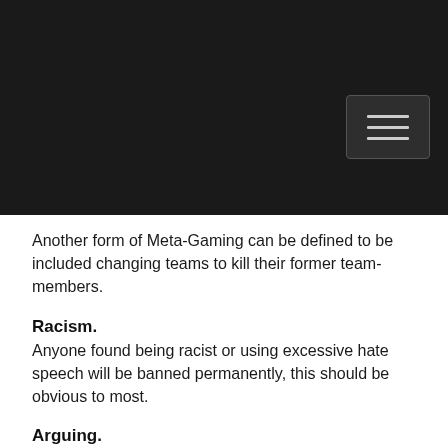[Figure (screenshot): Dark header/navigation bar with hamburger menu button on the right side]
Another form of Meta-Gaming can be defined to be included changing teams to kill their former team-members.
Racism.
Anyone found being racist or using excessive hate speech will be banned permanently, this should be obvious to most.
Arguing.
Anyone arguing in...